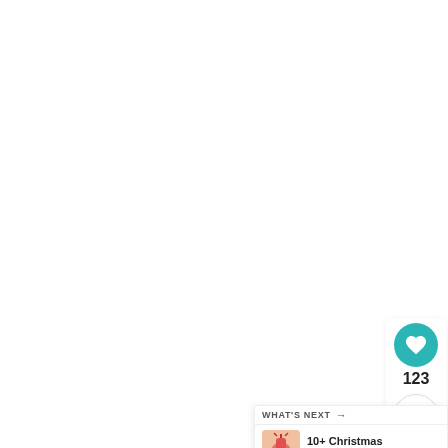[Figure (screenshot): White blank area taking up most of the page, representing a webpage screenshot with UI overlay elements]
[Figure (infographic): Teal circular heart/like button with count 123 below it, and a share button below that, with three gray dots]
123
WHAT'S NEXT →
10+ Christmas Gifts For Me...
BUY THIS EXFOLIATING
We Stand With You